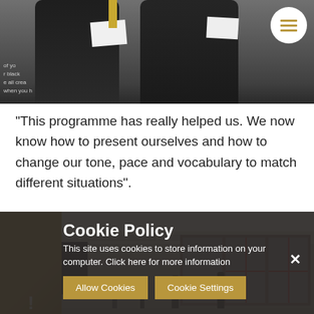[Figure (photo): Two students in school uniforms holding papers, with a circular hamburger menu button in the top right corner]
“This programme has really helped us. We now know how to present ourselves and how to change our tone, pace and vocabulary to match different situations”.
[Figure (photo): A classroom or large hall interior with windows and students/people standing]
Cookie Policy
This site uses cookies to store information on your computer. Click here for more information
Allow Cookies
Cookie Settings